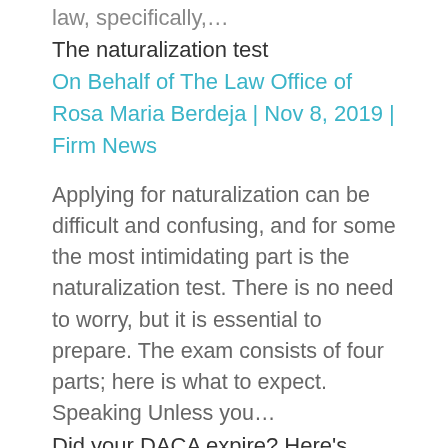law, specifically,…
The naturalization test
On Behalf of The Law Office of Rosa Maria Berdeja | Nov 8, 2019 | Firm News
Applying for naturalization can be difficult and confusing, and for some the most intimidating part is the naturalization test. There is no need to worry, but it is essential to prepare. The exam consists of four parts; here is what to expect. Speaking Unless you…
Did your DACA expire? Here's what to do
On Behalf of The Law Office of Rosa Maria Berdeja | Jun 25, 2019 | Immigration Law